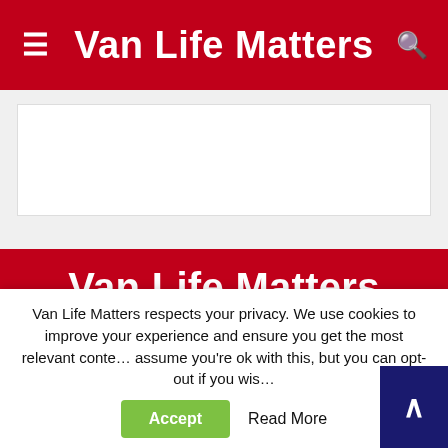Van Life Matters
[Figure (other): White rectangular advertisement placeholder area on light gray background]
Van Life Matters
ABOUT US
The go-to place for all the very latest UK Van Life news, tips and advice for campervan, motorhome and caravan owners. We're keeping those that live in their van, full time or part time, informed with everything that's happening in the UK's Van Life scene and
Van Life Matters respects your privacy. We use cookies to improve your experience and ensure you get the most relevant content. We assume you're ok with this, but you can opt-out if you wish.
Accept
Read More